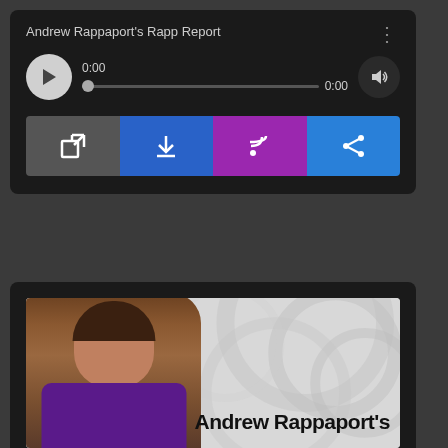[Figure (screenshot): Audio player widget with title 'Andrew Rappaport's Rapp Report', play button, progress bar showing 0:00 timestamps, volume button, and four action buttons: external link (gray), download (blue), RSS/podcast (purple), and share (light blue)]
[Figure (photo): Podcast cover image showing a man (Andrew Rappaport) in a purple shirt with text 'Andrew Rappaport's' overlaid, on a light gray decorative background]